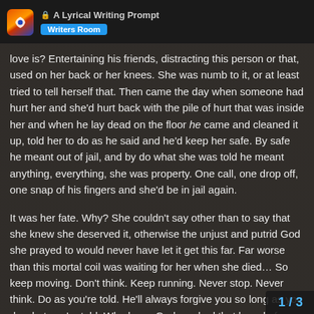A Lyrical Writing Prompt — Writers Room
love is? Entertaining his friends, distracting this person or that, used on her back or her knees. She was numb to it, or at least tried to tell herself that. Then came the day when someone had hurt her and she'd hurt back with the pile of hurt that was inside her and when he lay dead on the floor he came and cleaned it up, told her to do as he said and he'd keep her safe. By safe he meant out of jail, and by do what she was told he meant anything, everything, she was property. One call, one drop off, one snap of his fingers and she'd be in jail again.
It was her fate. Why? She couldn't say other than to say that she knew she deserved it, otherwise the unjust and putrid God she prayed to would never have let it get this far. Far worse than this mortal coil was waiting for her when she died… So keep moving. Don't think. Keep running. Never stop. Never think. Do as you're told. He'll always forgive you so long as you do what you're told. Who knew God smoked that brand of cigars
1 / 3